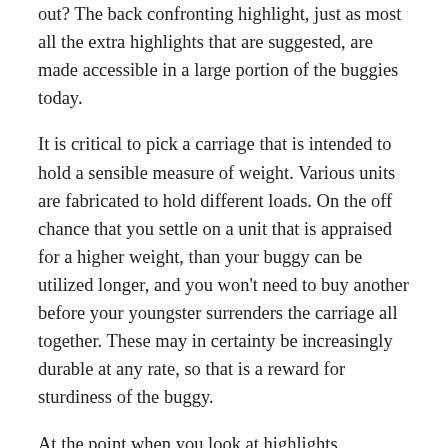out? The back confronting highlight, just as most all the extra highlights that are suggested, are made accessible in a large portion of the buggies today.
It is critical to pick a carriage that is intended to hold a sensible measure of weight. Various units are fabricated to hold different loads. On the off chance that you settle on a unit that is appraised for a higher weight, than your buggy can be utilized longer, and you won't need to buy another before your youngster surrenders the carriage all together. These may in certainty be increasingly durable at any rate, so that is a reward for sturdiness of the buggy.
At the point when you look at highlights accessible, there is more than one unit that is a bassinet, a newborn child seat, and a little child seat across the board. For a multifunctional unit, a significant inquiry is the simplicity of changing starting with one utilize then onto the next. All things considered